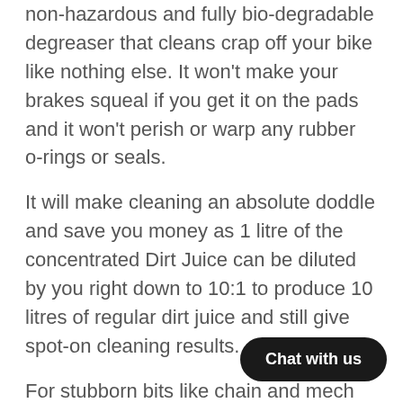non-hazardous and fully bio-degradable degreaser that cleans crap off your bike like nothing else. It won't make your brakes squeal if you get it on the pads and it won't perish or warp any rubber o-rings or seals.
It will make cleaning an absolute doddle and save you money as 1 litre of the concentrated Dirt Juice can be diluted by you right down to 10:1 to produce 10 litres of regular dirt juice and still give spot-on cleaning results.
For stubborn bits like chain and mech we recommend using the concentrated Dirt Juice neat and diluting down for more general cleaning but really it's whatever works for your riding conditions.